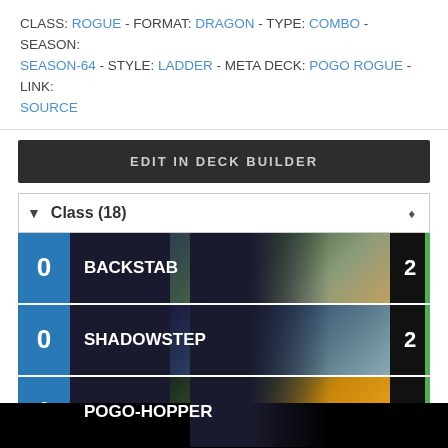CLASS: ROGUE - FORMAT: DRAGON - TYPE: COMBO - SEASON: SEASON-64 - STYLE: LADDER - META DECK: POGO ROGUE - LINK: SOURCE
EDIT IN DECK BUILDER
| Mana | Card Name | Count |
| --- | --- | --- |
| 0 | BACKSTAB | 2 |
| 0 | SHADOWSTEP | 2 |
| 1 | POGO-HOPPER | 2 |
| 2 | LAB RECRUITER | 2 |
| 2 | SAP | 2 |